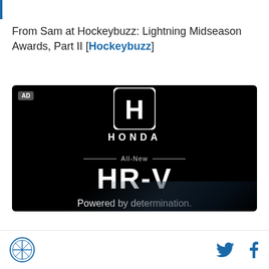From Sam at Hockeybuzz: Lightning Midseason Awards, Part II [Hockeybuzz]
[Figure (photo): Honda HR-V advertisement on black background. Shows Honda logo (H emblem), HONDA wordmark, 'All-New' with horizontal lines, 'HR-V' in large bold text, and 'Powered by determination.' tagline. AD badge in top left corner.]